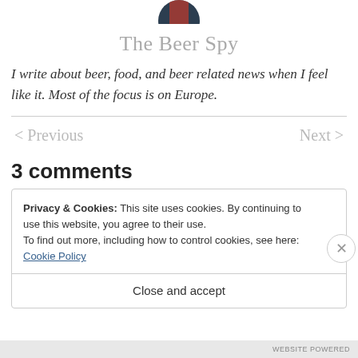[Figure (photo): Circular avatar photo of The Beer Spy blogger, partially cropped at top]
The Beer Spy
I write about beer, food, and beer related news when I feel like it. Most of the focus is on Europe.
< Previous    Next >
3 comments
Privacy & Cookies: This site uses cookies. By continuing to use this website, you agree to their use.
To find out more, including how to control cookies, see here: Cookie Policy
Close and accept